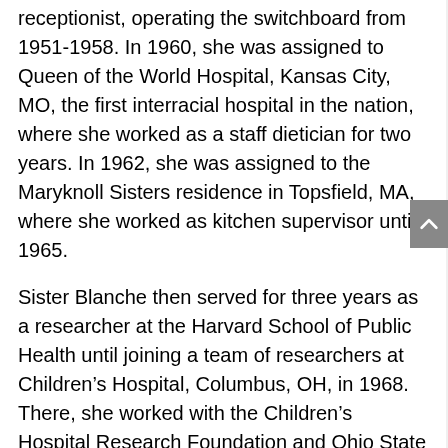receptionist, operating the switchboard from 1951-1958. In 1960, she was assigned to Queen of the World Hospital, Kansas City, MO, the first interracial hospital in the nation, where she worked as a staff dietician for two years. In 1962, she was assigned to the Maryknoll Sisters residence in Topsfield, MA, where she worked as kitchen supervisor until 1965.
Sister Blanche then served for three years as a researcher at the Harvard School of Public Health until joining a team of researchers at Children's Hospital, Columbus, OH, in 1968. There, she worked with the Children's Hospital Research Foundation and Ohio State University's Pediatrics Department on a nationwide research program, entitled “Evaluation of Nutritional Status of Preschool Children in the United States,” beginning as a dietary researcher, visiting families in